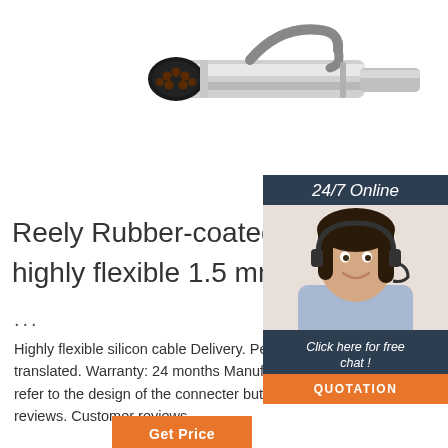[Figure (photo): Metal connector plug with 7 circular contacts on the end face, silver/grey cylindrical housing with a hook/clip on top]
[Figure (photo): Customer service agent (woman with headset, smiling) with 24/7 Online banner, a 'Click here for free chat!' button and QUOTATION orange button]
Reely Rubber-coated ca highly flexible 1.5 mm² 1
...
Highly flexible silicon cable Delivery. Per 1 and black 1 m silicone cable; This text is m translated. Warranty: 24 months Manufact Reely ; Comments The name plug or socket does not refer to the design of the connecter but instead always to the electrical contacts. Customer reviews. Customer reviews
[Figure (other): Get Price button (orange)]